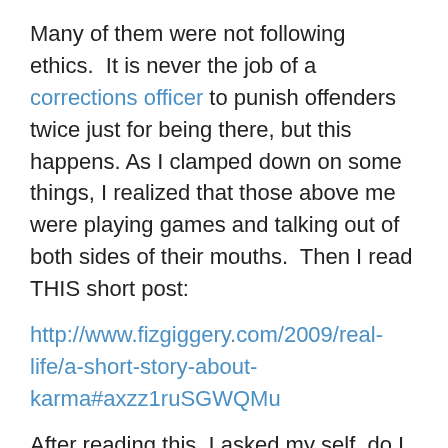Many of them were not following ethics.  It is never the job of a corrections officer to punish offenders twice just for being there, but this happens. As I clamped down on some things, I realized that those above me were playing games and talking out of both sides of their mouths.  Then I read THIS short post:
http://www.fizgiggery.com/2009/real-life/a-short-story-about-karma#axzz1ruSGWQMu
After reading this, I asked my self, do I want to BE like these people that gave me this position? I knew I did not want to play their games anymore.  Now Lauren Vasil doesn't describe karma the way I have learned to view it.  She describes it as a "domino type effect".  I prefer to think of it more as when someone does something that is kind and right, it goes forth into the universe like the ripples go